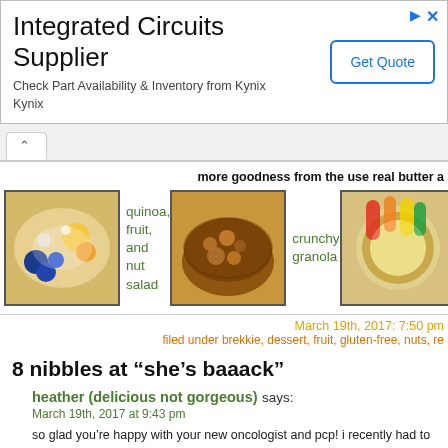[Figure (other): Advertisement banner for Integrated Circuits Supplier - Kynix. Title: 'Integrated Circuits Supplier'. Subtext: 'Check Part Availability & Inventory from Kynix Kynix'. Button: 'Get Quote'.]
more goodness from the use real butter a
[Figure (photo): Food photo: quinoa, fruit, and nut salad]
quinoa, fruit, and nut salad
[Figure (photo): Food photo: crunchy granola]
crunchy granola
[Figure (photo): Food photo: stee...]
stee
March 19th, 2017: 7:50 pm
filed under brekkie, dessert, fruit, gluten-free, nuts, re...
8 nibbles at “she’s baaack”
heather (delicious not gorgeous) says:
March 19th, 2017 at 9:43 pm
so glad you’re happy with your new oncologist and pcp! i recently had to switch my pc... those mango flower cut outs; they make an otherwise gray chia seed pudding so summer...